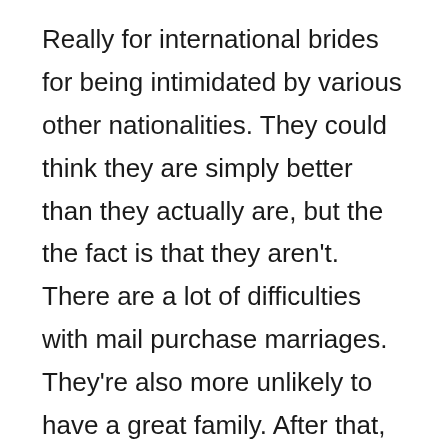Really for international brides for being intimidated by various other nationalities. They could think they are simply better than they actually are, but the the fact is that they aren't. There are a lot of difficulties with mail purchase marriages. They're also more unlikely to have a great family. After that, they might not be able to afford to pay much time along, so they're more likely to become depressed.

Mail-order brides are usually often